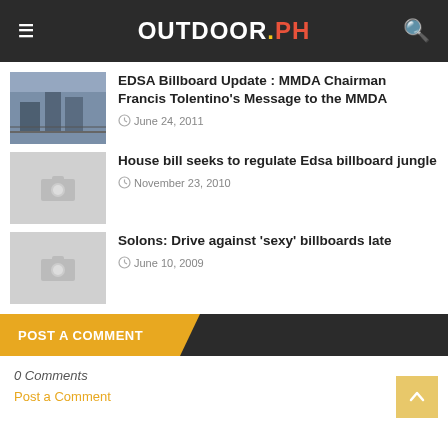OUTDOOR.PH
EDSA Billboard Update : MMDA Chairman Francis Tolentino's Message to the MMDA
June 24, 2011
House bill seeks to regulate Edsa billboard jungle
November 23, 2010
Solons: Drive against 'sexy' billboards late
June 10, 2009
POST A COMMENT
0 Comments
Post a Comment